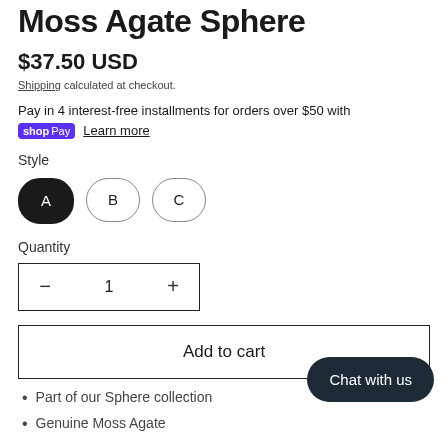Moss Agate Sphere
$37.50 USD
Shipping calculated at checkout.
Pay in 4 interest-free installments for orders over $50 with shop Pay  Learn more
Style
A  B  C
Quantity
−  1  +
Add to cart
Chat with us
Part of our Sphere collection
Genuine Moss Agate